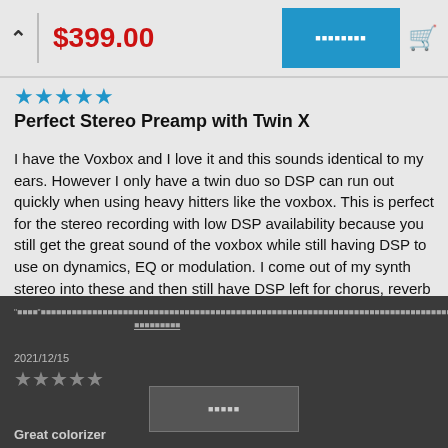$399.00
[Figure (other): Five blue star rating icons]
Perfect Stereo Preamp with Twin X
I have the Voxbox and I love it and this sounds identical to my ears. However I only have a twin duo so DSP can run out quickly when using heavy hitters like the voxbox. This is perfect for the stereo recording with low DSP availability because you still get the great sound of the voxbox while still having DSP to use on dynamics, EQ or modulation. I come out of my synth stereo into these and then still have DSP left for chorus, reverb and EQ.
2021/12/15
[Figure (other): Four grey star rating icons in footer]
Great colorizer